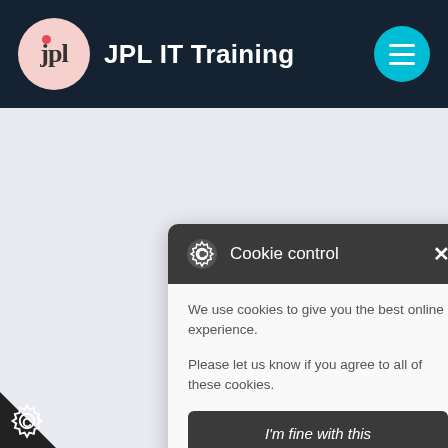JPL IT Training
[Figure (screenshot): Cookie control dialog box with gear icon, close button, cookie consent text, 'I'm fine with this' button, and links to Information and Settings and Cookie policy]
We use cookies to give you the best online experience.
Please let us know if you agree to all of these cookies.
I'm fine with this
Information and Settings
Cookie policy